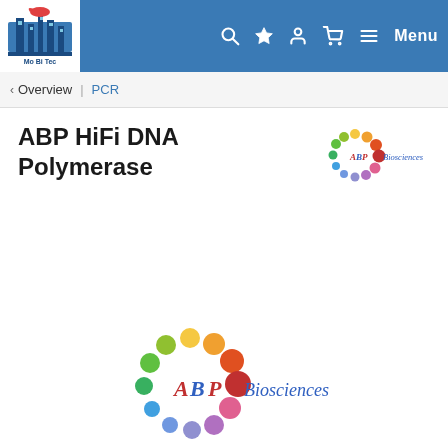Mo Bi Tec — Molecular Biotechnology navigation header with search, bookmark, user, cart, menu icons
< Overview | PCR
ABP HiFi DNA Polymerase
[Figure (logo): ABP Biosciences logo (small) — colorful circle of dots in various colors with text 'ABP Biosciences' in blue/red italic]
[Figure (logo): ABP Biosciences logo (large) — colorful circle of dots in various colors with text 'ABP Biosciences' in blue/red italic]